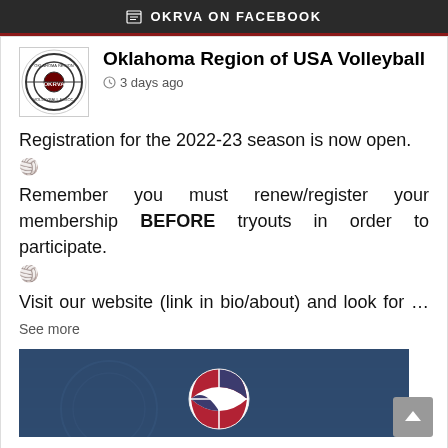OKRVA ON FACEBOOK
Oklahoma Region of USA Volleyball
3 days ago
Registration for the 2022-23 season is now open.
🏐
Remember you must renew/register your membership BEFORE tryouts in order to participate.
🏐
Visit our website (link in bio/about) and look for … See more
[Figure (photo): Blue background image with USA volleyball logo - a volleyball with American flag pattern (red, white, blue)]